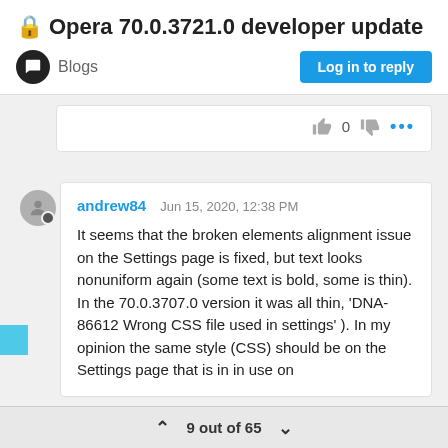🔒 Opera 70.0.3721.0 developer update
Blogs
Log in to reply
👍 0 👎 ···
andrew84
Jun 15, 2020, 12:38 PM
It seems that the broken elements alignment issue on the Settings page is fixed, but text looks nonuniform again (some text is bold, some is thin). In the 70.0.3707.0 version it was all thin, 'DNA-86612 Wrong CSS file used in settings' ). In my opinion the same style (CSS) should be on the Settings page that is in in use on
9 out of 65